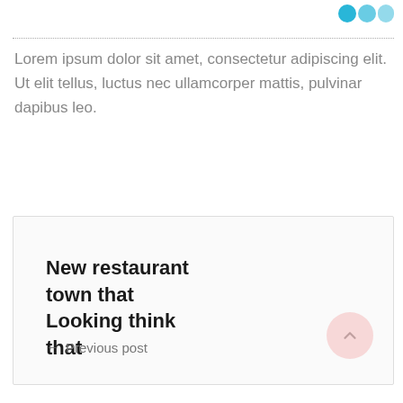Lorem ipsum dolor sit amet, consectetur adipiscing elit. Ut elit tellus, luctus nec ullamcorper mattis, pulvinar dapibus leo.
New restaurant town that Looking think that
← Previous post